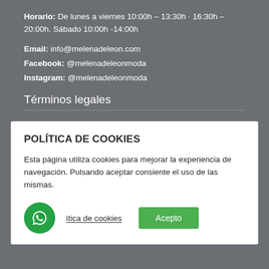Horario: De lunes a viernes 10:00h – 13:30h · 16:30h – 20:00h. Sábado 10:00h -14:00h
Email: info@melenadeleon.com
Facebook: @melenadeleonmoda
Instagram: @melenadeleonmoda
Términos legales
POLÍTICA DE COOKIES
Esta página utiliza cookies para mejorar la experiencia de navegación. Pulsando aceptar consiente el uso de las mismas.
Política de cookies  Acepto